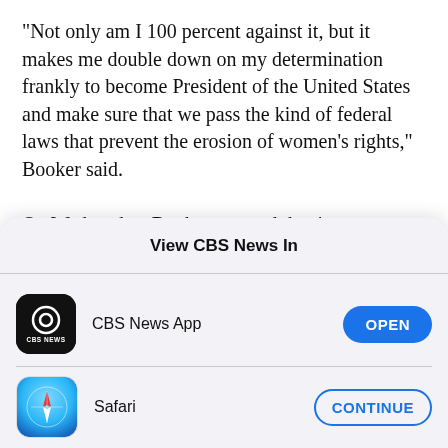"Not only am I 100 percent against it, but it makes me double down on my determination frankly to become President of the United States and make sure that we pass the kind of federal laws that prevent the erosion of women's rights," Booker said.

On Wednesday, Booker tweeted that it was incumbent upon men to speak out as well. "Men, it's on us to speak out too. It's on us to take action. Not
View CBS News In
CBS News App
Safari